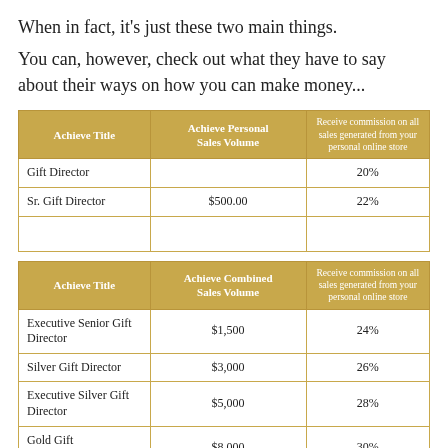When in fact, it's just these two main things.
You can, however, check out what they have to say about their ways on how you can make money...
| Achieve Title | Achieve Personal Sales Volume | Receive commission on all sales generated from your personal online store |
| --- | --- | --- |
| Gift Director |  | 20% |
| Sr. Gift Director | $500.00 | 22% |
|  |  |  |
| Achieve Title | Achieve Combined Sales Volume | Receive commission on all sales generated from your personal online store |
| --- | --- | --- |
| Executive Senior Gift Director | $1,500 | 24% |
| Silver Gift Director | $3,000 | 26% |
| Executive Silver Gift Director | $5,000 | 28% |
| Gold Gift Director | $8,000 | 30% |